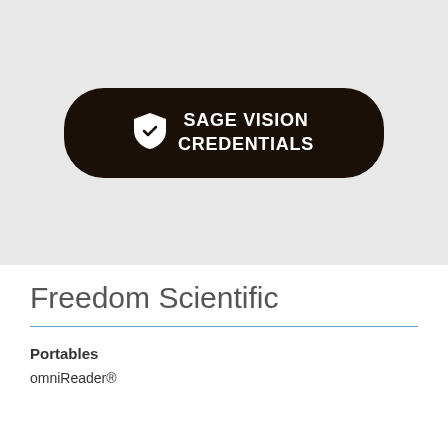[Figure (screenshot): A dark rounded button/pill on a light gray background with a shield icon and the text 'SAGE VISION CREDENTIALS' in white bold uppercase letters]
Freedom Scientific
Portables
omniReader®